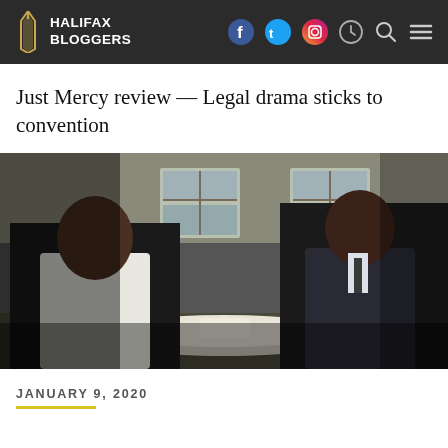HALIFAX BLOGGERS
Just Mercy review — Legal drama sticks to convention
[Figure (photo): Two men sitting across from each other at a round table in what appears to be a prison visitation room. The man on the left wears a white shirt (prisoner), and the man on the right wears a dark suit (lawyer). Background shows two barred windows.]
JANUARY 9, 2020